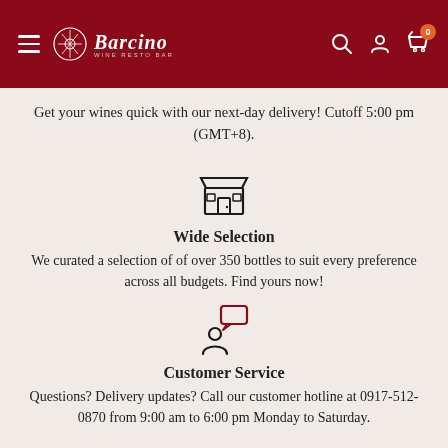Barcino Wine Resto Bar
Get your wines quick with our next-day delivery! Cutoff 5:00 pm (GMT+8).
[Figure (illustration): Store/shop icon - outline of a market stall with awning and door]
Wide Selection
We curated a selection of of over 350 bottles to suit every preference across all budgets. Find yours now!
[Figure (illustration): Customer service icon - person with speech bubble]
Customer Service
Questions? Delivery updates? Call our customer hotline at 0917-512-0870 from 9:00 am to 6:00 pm Monday to Saturday.